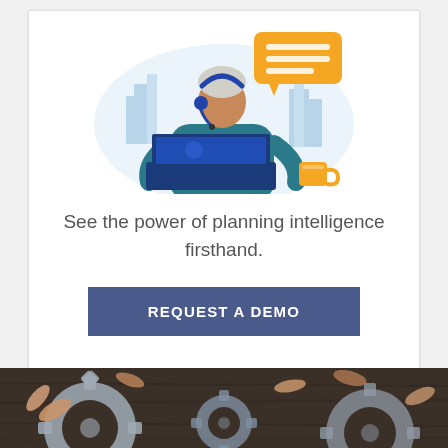[Figure (illustration): Customer support representative with headset and laptop, orange speech bubble with lines, blue cityscape background, coffee mug]
See the power of planning intelligence firsthand.
[Figure (other): Button graphic labeled REQUEST A DEMO on a dark blue/slate background]
[Figure (photo): Photograph of multiple hands holding grey gear/cog pieces together on a dark wooden surface]